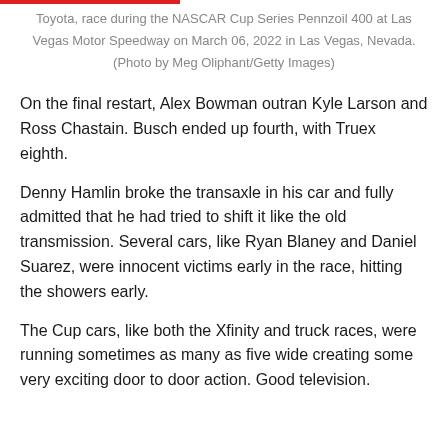Toyota, race during the NASCAR Cup Series Pennzoil 400 at Las Vegas Motor Speedway on March 06, 2022 in Las Vegas, Nevada. (Photo by Meg Oliphant/Getty Images)
On the final restart, Alex Bowman outran Kyle Larson and Ross Chastain. Busch ended up fourth, with Truex eighth.
Denny Hamlin broke the transaxle in his car and fully admitted that he had tried to shift it like the old transmission. Several cars, like Ryan Blaney and Daniel Suarez, were innocent victims early in the race, hitting the showers early.
The Cup cars, like both the Xfinity and truck races, were running sometimes as many as five wide creating some very exciting door to door action. Good television.